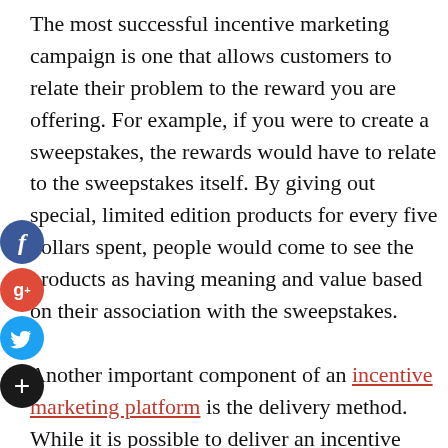The most successful incentive marketing campaign is one that allows customers to relate their problem to the reward you are offering. For example, if you were to create a sweepstakes, the rewards would have to relate to the sweepstakes itself. By giving out special, limited edition products for every five dollars spent, people would come to see the products as having meaning and value based on their association with the sweepstakes.

Another important component of an incentive marketing platform is the delivery method. While it is possible to deliver an incentive through direct mail, most customers prefer the flexibility of direct email. With email, a incentive marketing company can add incentives at any time without